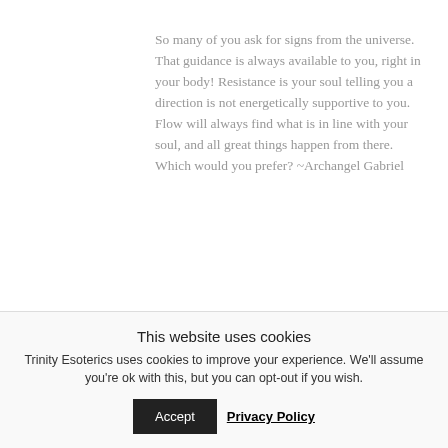So many of you ask for signs from the universe. That guidance is always available to you, right in your body! Resistance is your soul telling you a direction is not energetically supportive to you. Flow will always find what is in line with your soul, and all great things happen from there. Which would you prefer? ~Archangel Gabriel
Find this content useful? Share it with your friends!
This website uses cookies
Trinity Esoterics uses cookies to improve your experience. We'll assume you're ok with this, but you can opt-out if you wish.